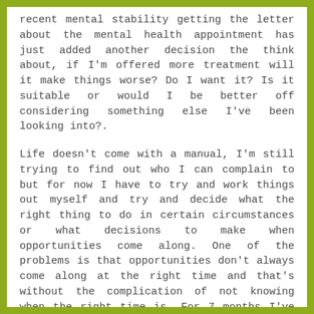recent mental stability getting the letter about the mental health appointment has just added another decision the think about, if I'm offered more treatment will it make things worse? Do I want it? Is it suitable or would I be better off considering something else I've been looking into?.
Life doesn't come with a manual, I'm still trying to find out who I can complain to but for now I have to try and work things out myself and try and decide what the right thing to do in certain circumstances or what decisions to make when opportunities come along. One of the problems is that opportunities don't always come along at the right time and that's without the complication of not knowing when the right time is. For 7 months I've been working and earning on top of my benefits (all legit please don't report me for benefit fraud) and it's been the best, most intense, stressful, exhausting and rewarding 7 months, it